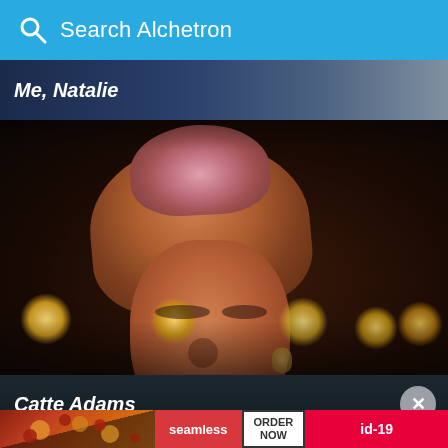Search Alchetron
Me, Natalie
[Figure (photo): Close-up photograph of a woman with voluminous reddish-brown hair performing on a stage with bokeh stage lights in the background. The woman appears to be singing or speaking.]
Catte Adams
[Figure (screenshot): Advertisement banner showing pizza image, seamless logo button, ORDER NOW button, and id-19 red badge]